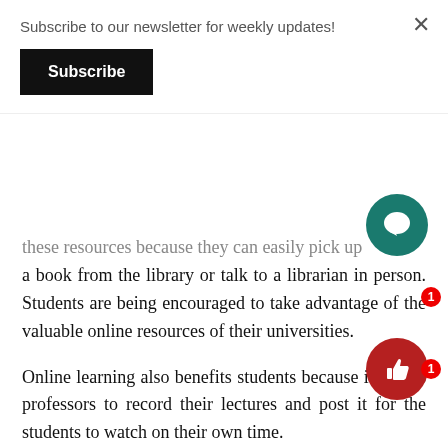Subscribe to our newsletter for weekly updates!
Subscribe
these resources because they can easily pick up a book from the library or talk to a librarian in person. Students are being encouraged to take advantage of the valuable online resources of their universities.
Online learning also benefits students because it allows professors to record their lectures and post it for the students to watch on their own time.
Students can then choose when they are most receptive and focused to watch the lectures, making it easier for them to concentrate and retain information. Research shows that benefit